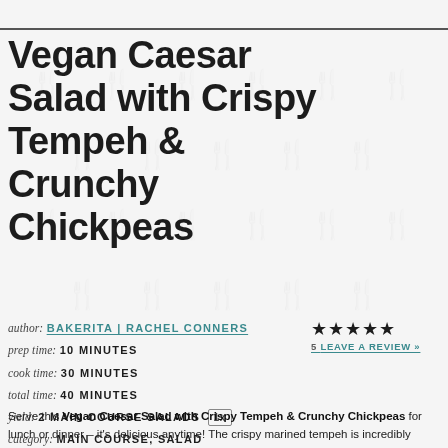Vegan Caesar Salad with Crispy Tempeh & Crunchy Chickpeas
author: BAKERITA | RACHEL CONNERS  ★★★★★  5 EAVE A REVIEW »
prep time: 10 MINUTES
cook time: 30 MINUTES
total time: 40 MINUTES
yield: 2 MAIN COURSE SALADS  1x
category: MAIN COURSE, SALAD
Serve this Vegan Caesar Salad with Crispy Tempeh & Crunchy Chickpeas for lunch or dinner – it's delicious anytime! The crispy marined tempeh is incredibly flavorful and filling and the chickpeas add lots of texture.